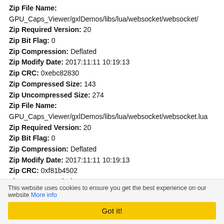Zip Uncompressed Size: (truncated top)
Zip File Name: GPU_Caps_Viewer/gxlDemos/libs/lua/websocket/websocket/
Zip Required Version: 20
Zip Bit Flag: 0
Zip Compression: Deflated
Zip Modify Date: 2017:11:11 10:19:13
Zip CRC: 0xebc82830
Zip Compressed Size: 143
Zip Uncompressed Size: 274
Zip File Name: GPU_Caps_Viewer/gxlDemos/libs/lua/websocket/websocket.lua
Zip Required Version: 20
Zip Bit Flag: 0
Zip Compression: Deflated
Zip Modify Date: 2017:11:11 10:19:13
Zip CRC: 0xf81b4502
Zip Compressed Size: 134
Zip Uncompressed Size: 217
Zip File Name: GPU_Caps_Viewer/gxlDemos/libs/lua/websocket/websocket/bit.lua
Zip Required Version: 20
Zip Bit Flag: 0
This website uses cookies to ensure you get the best experience on our website More info
Got it!